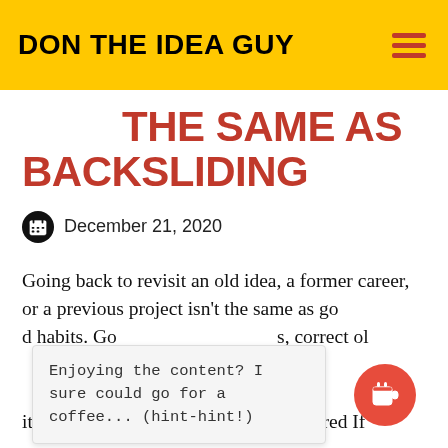DON THE IDEA GUY
THE SAME AS BACKSLIDING
December 21, 2020
Going back to revisit an old idea, a former career, or a previous project isn't the same as going back to old habits. Going back means s, correct old mistakes, refine concepts, move on, make improvements, and extend its life cycle. Going Back Better Prepared If
Enjoying the content? I sure could go for a coffee... (hint-hint!)